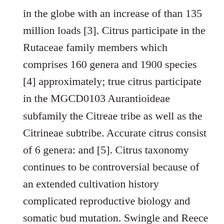in the globe with an increase of than 135 million loads [3]. Citrus participate in the Rutaceae family members which comprises 160 genera and 1900 species [4] approximately; true citrus participate in the MGCD0103 Aurantioideae subfamily the Citreae tribe as well as the Citrineae subtribe. Accurate citrus consist of 6 genera: and [5]. Citrus taxonomy continues to be controversial because of an extended cultivation history complicated reproductive biology and somatic bud mutation. Swingle and Reece (1967) [5] and Tanaka (1977) [6] which understand 16 and 162 varieties respectively remain both main classification systems presently used. Nevertheless this last 10 years molecular analyses possess provided decisive info regarding domestication as well as the relationships between different cultivated varieties of [7-14]. Four ancestral taxa L. (citron) Blanco (mandarin) (Burm.) Merr. (pummelo) and